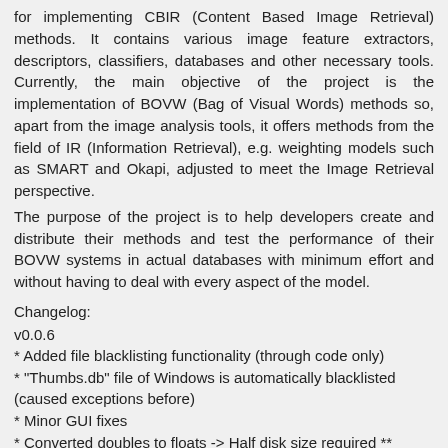for implementing CBIR (Content Based Image Retrieval) methods. It contains various image feature extractors, descriptors, classifiers, databases and other necessary tools. Currently, the main objective of the project is the implementation of BOVW (Bag of Visual Words) methods so, apart from the image analysis tools, it offers methods from the field of IR (Information Retrieval), e.g. weighting models such as SMART and Okapi, adjusted to meet the Image Retrieval perspective.
The purpose of the project is to help developers create and distribute their methods and test the performance of their BOVW systems in actual databases with minimum effort and without having to deal with every aspect of the model.
Changelog:
v0.0.6
* Added file blacklisting functionality (through code only)
* "Thumbs.db" file of Windows is automatically blacklisted (caused exceptions before)
* Minor GUI fixes
* Converted doubles to floats -> Half disk size required **